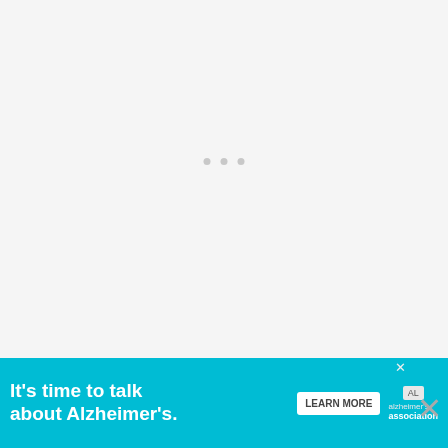[Figure (other): Gray placeholder area for an image or ad slot with three gray dots indicator]
3. Dream of a baby with diarrhea
To see a baby with diarrhea in a dream indicates that you are a very health-conscious person. But if you have twins it means th...
[Figure (other): Alzheimer's Association advertisement banner: 'It's time to talk about Alzheimer's.' with LEARN MORE button and logo]